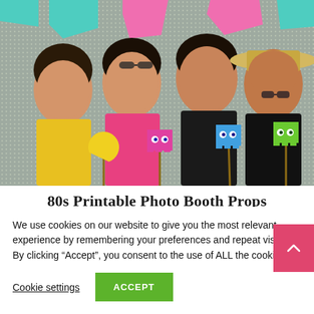[Figure (photo): Four smiling women posing together holding Pac-Man themed photo booth props (Pac-Man and ghost characters in yellow, pink/magenta, blue, and green) against a colorful polka-dot banner backdrop.]
80s Printable Photo Booth Props
We use cookies on our website to give you the most relevant experience by remembering your preferences and repeat visits. By clicking “Accept”, you consent to the use of ALL the cookies.
Cookie settings   ACCEPT